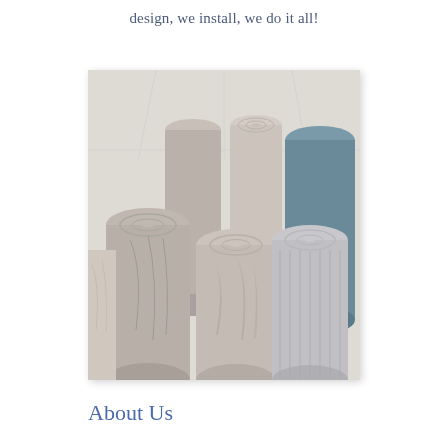design, we install, we do it all!
[Figure (photo): Several rolls of patterned wallpaper standing upright, in various grey, white, and teal tones with floral and geometric patterns, on a light wooden floor background.]
About Us